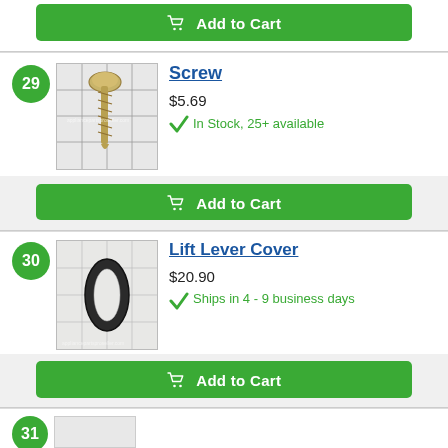[Figure (other): Green Add to Cart button at top of page]
29 Screw $5.69 In Stock, 25+ available
[Figure (photo): Photo of a screw (hex head, threaded shaft) on a grid background]
[Figure (other): Green Add to Cart button for item 29]
30 Lift Lever Cover $20.90 Ships in 4 - 9 business days
[Figure (photo): Photo of a lift lever cover (oval/ring shaped, dark) on a grid background]
[Figure (other): Green Add to Cart button for item 30]
31 (partially visible)